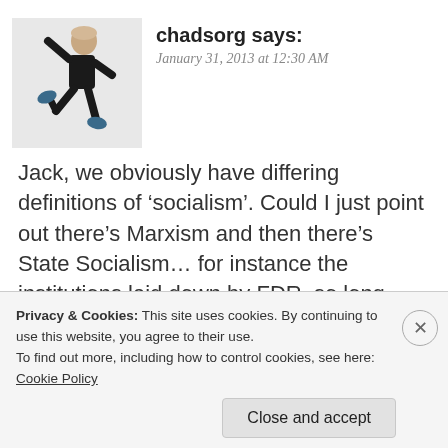[Figure (photo): Avatar image of a person jumping/dancing in a black outfit with blue boots, on a light gray square background]
chadsorg says:
January 31, 2013 at 12:30 AM
Jack, we obviously have differing definitions of 'socialism'. Could I just point out there's Marxism and then there's State Socialism… for instance the institutions laid down by FDR, so long ago. You say “educationalists” as if that's a party or philosophy that's at odds with state socialism.
Privacy & Cookies: This site uses cookies. By continuing to use this website, you agree to their use.
To find out more, including how to control cookies, see here: Cookie Policy
Close and accept